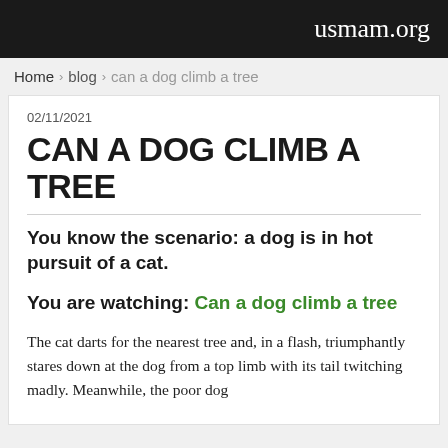usmam.org
Home › blog › can a dog climb a tree
02/11/2021
CAN A DOG CLIMB A TREE
You know the scenario: a dog is in hot pursuit of a cat.
You are watching: Can a dog climb a tree
The cat darts for the nearest tree and, in a flash, triumphantly stares down at the dog from a top limb with its tail twitching madly. Meanwhile, the poor dog